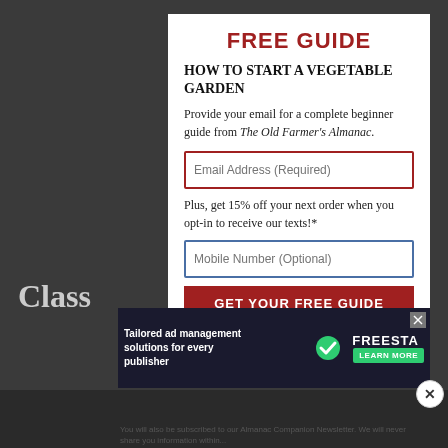FREE GUIDE
HOW TO START A VEGETABLE GARDEN
Provide your email for a complete beginner guide from The Old Farmer's Almanac.
Email Address (Required)
Plus, get 15% off your next order when you opt-in to receive our texts!*
Mobile Number (Optional)
GET YOUR FREE GUIDE
[Figure (screenshot): Advertisement banner for Freestar: 'Tailored ad management solutions for every publisher' with Learn More button]
You will also be subscribed to our Almanac Companion Newsletter. We will never share you information within...